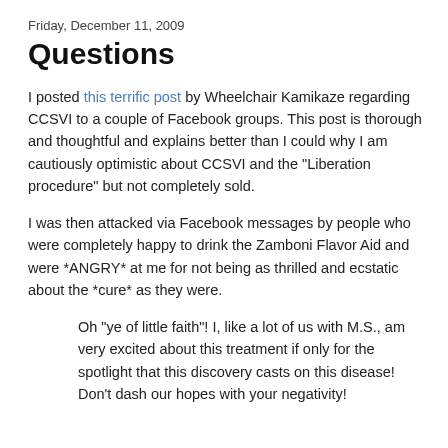Friday, December 11, 2009
Questions
I posted this terrific post by Wheelchair Kamikaze regarding CCSVI to a couple of Facebook groups. This post is thorough and thoughtful and explains better than I could why I am cautiously optimistic about CCSVI and the "Liberation procedure" but not completely sold.
I was then attacked via Facebook messages by people who were completely happy to drink the Zamboni Flavor Aid and were *ANGRY* at me for not being as thrilled and ecstatic about the *cure* as they were.
Oh "ye of little faith"! I, like a lot of us with M.S., am very excited about this treatment if only for the spotlight that this discovery casts on this disease! Don't dash our hopes with your negativity!